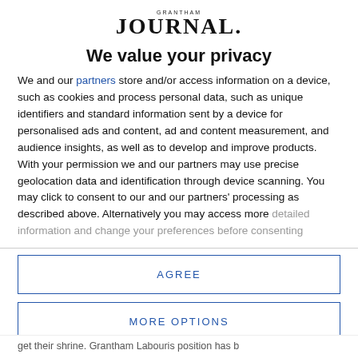[Figure (logo): Grantham Journal logo with small 'GRANTHAM' text above larger 'JOURNAL.' wordmark]
We value your privacy
We and our partners store and/or access information on a device, such as cookies and process personal data, such as unique identifiers and standard information sent by a device for personalised ads and content, ad and content measurement, and audience insights, as well as to develop and improve products. With your permission we and our partners may use precise geolocation data and identification through device scanning. You may click to consent to our and our partners' processing as described above. Alternatively you may access more detailed information and change your preferences before consenting
AGREE
MORE OPTIONS
get their shrine. Grantham Labouris position has b...